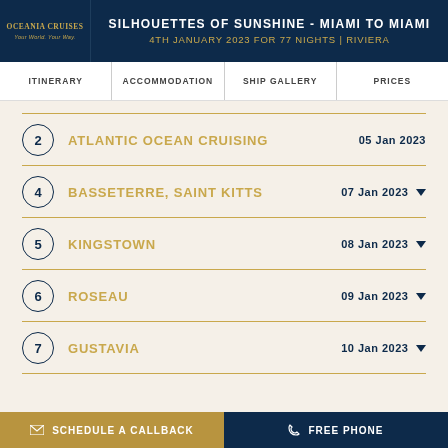SILHOUETTES OF SUNSHINE - MIAMI TO MIAMI
4TH JANUARY 2023 FOR 77 NIGHTS | RIVIERA
ITINERARY | ACCOMMODATION | SHIP GALLERY | PRICES
2  ATLANTIC OCEAN CRUISING  05 Jan 2023
4  BASSETERRE, SAINT KITTS  07 Jan 2023
5  KINGSTOWN  08 Jan 2023
6  ROSEAU  09 Jan 2023
7  GUSTAVIA  10 Jan 2023
SCHEDULE A CALLBACK  |  FREE PHONE